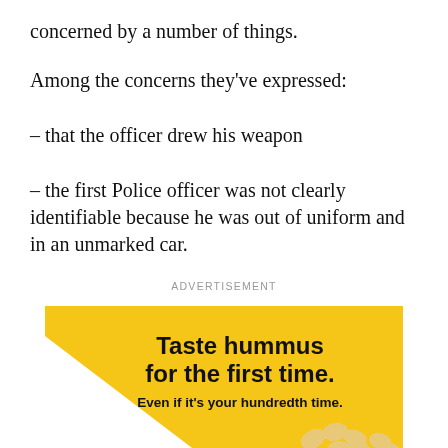concerned by a number of things.
Among the concerns they've expressed:
– that the officer drew his weapon
– the first Police officer was not clearly identifiable because he was out of uniform and in an unmarked car.
ADVERTISEMENT
[Figure (illustration): Advertisement for hummus on a yellow background with diagonal white cut and chickpea shapes. Text reads: 'Taste hummus for the first time. Even if it's your hundredth time.']